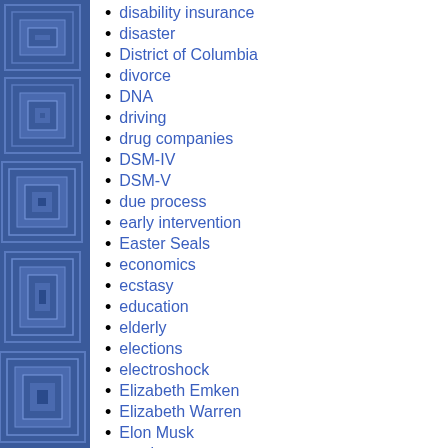disability insurance
disaster
District of Columbia
divorce
DNA
driving
drug companies
DSM-IV
DSM-V
due process
early intervention
Easter Seals
economics
ecstasy
education
elderly
elections
electroshock
Elizabeth Emken
Elizabeth Warren
Elon Musk
employment